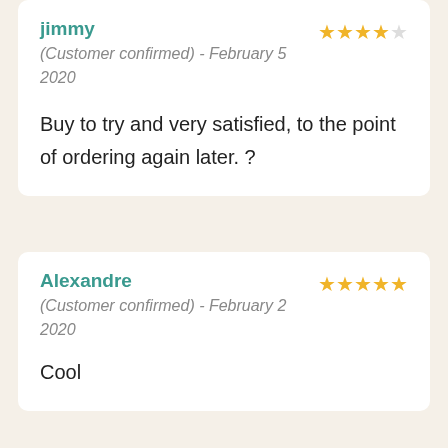jimmy (Customer confirmed) - February 5 2020 | 4 stars | Buy to try and very satisfied, to the point of ordering again later. ?
Alexandre (Customer confirmed) - February 2 2020 | 5 stars | Cool